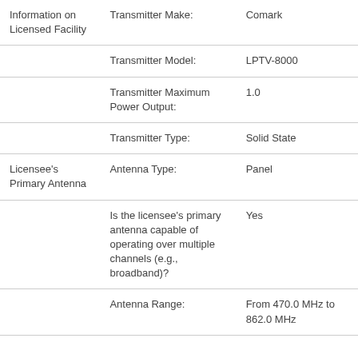| Category | Field | Value |
| --- | --- | --- |
| Information on Licensed Facility | Transmitter Make: | Comark |
|  | Transmitter Model: | LPTV-8000 |
|  | Transmitter Maximum Power Output: | 1.0 |
|  | Transmitter Type: | Solid State |
| Licensee's Primary Antenna | Antenna Type: | Panel |
|  | Is the licensee's primary antenna capable of operating over multiple channels (e.g., broadband)? | Yes |
|  | Antenna Range: | From 470.0 MHz to 862.0 MHz |